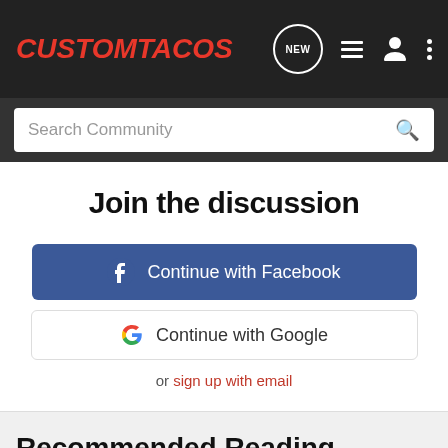CustomTacos
Search Community
Join the discussion
Continue with Facebook
Continue with Google
or sign up with email
Recommended Reading
How many 4 cylinders???